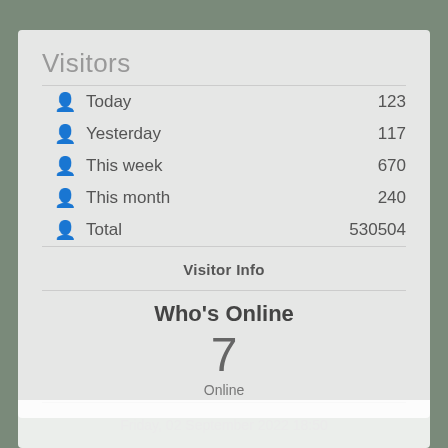Visitors
Today  123
Yesterday  117
This week  670
This month  240
Total  530504
Visitor Info
Who's Online
7
Online
Friday, 02 September 2022 18:50